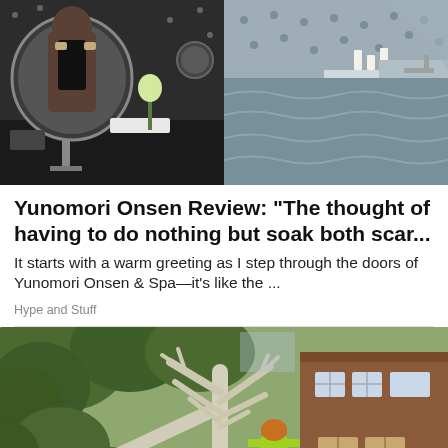[Figure (photo): Composite photo: left half shows a person taking a mirror selfie in a luxury bathroom; right half shows a large indoor pool or spa with water features.]
Yunomori Onsen Review: "The thought of having to do nothing but soak both scar...
It starts with a warm greeting as I step through the doors of Yunomori Onsen & Spa—it's like the ...
Hype and Stuff
[Figure (photo): Photo of a large fallen tree in a garden next to a brick house, with a worker in a hi-vis green jacket and orange hard hat examining the tree.]